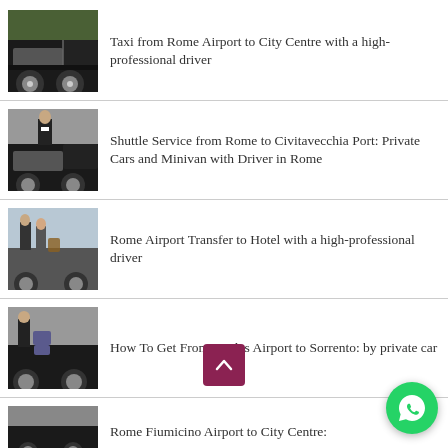Taxi from Rome Airport to City Centre with a high-professional driver
Shuttle Service from Rome to Civitavecchia Port: Private Cars and Minivan with Driver in Rome
Rome Airport Transfer to Hotel with a high-professional driver
How To Get From Naples Airport to Sorrento: by private car
Rome Fiumicino Airport to City Centre: